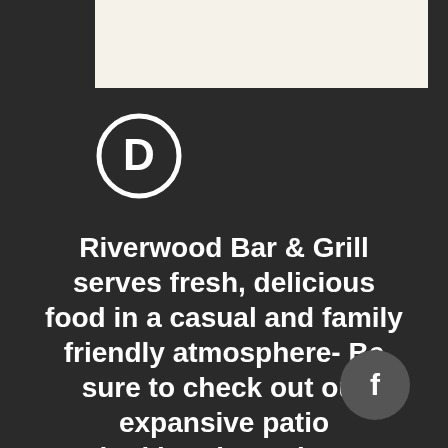[Figure (logo): Circled letter D logo icon in white on dark background]
Riverwood Bar & Grill serves fresh, delicious food in a casual and family friendly atmosphere- Be sure to check out our expansive patio overlooking the 18th green!
[Figure (logo): Facebook 'f' icon in a dark grey circle]